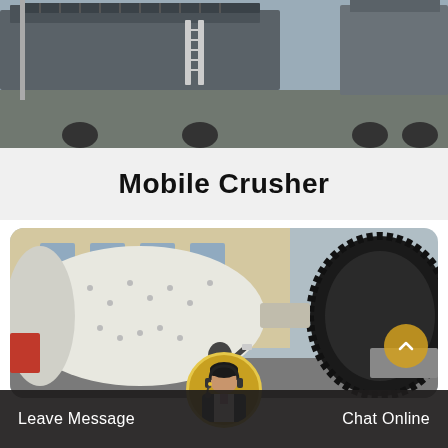[Figure (photo): Outdoor industrial site with mobile crushers/equipment, ladders visible on truck-mounted machinery, overcast sky]
Mobile Crusher
[Figure (photo): Large industrial ball mill with black gear ring, worker in foreground painting or cleaning the white cylindrical drum, industrial building in background]
Leave Message
Chat Online